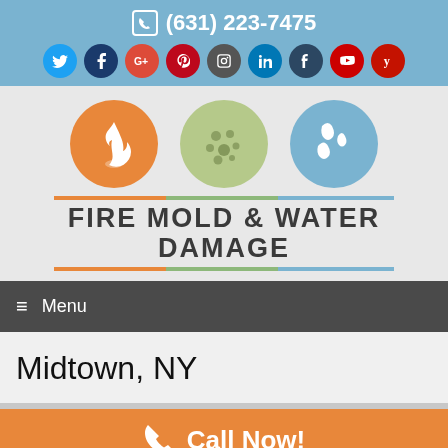(631) 223-7475
[Figure (logo): Social media icons: Twitter, Facebook, Google+, Pinterest, Instagram, LinkedIn, Tumblr, YouTube, Yelp]
[Figure (logo): Fire Mold & Water Damage company logo with three circles: orange flame, green mold, blue water drops]
Menu
Midtown, NY
Call Now!